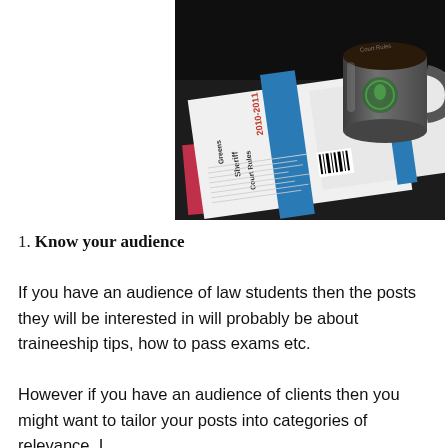[Figure (photo): Photograph of a Greens Sheriff Court Rules 2010-2011 booklet/publication lying on a dark surface next to a Starbucks coffee mug, with colorful papers underneath.]
1. Know your audience
If you have an audience of law students then the posts they will be interested in will probably be about traineeship tips, how to pass exams etc.
However if you have an audience of clients then you might want to tailor your posts into categories of relevance. I